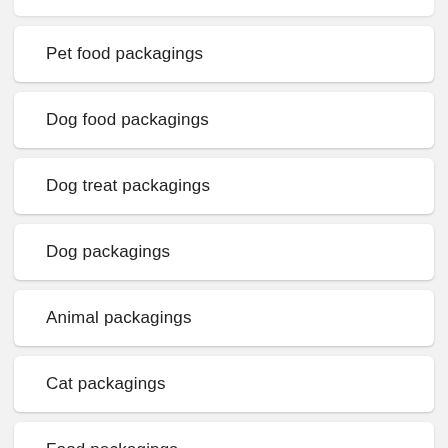Pet food packagings
Dog food packagings
Dog treat packagings
Dog packagings
Animal packagings
Cat packagings
Food packagings